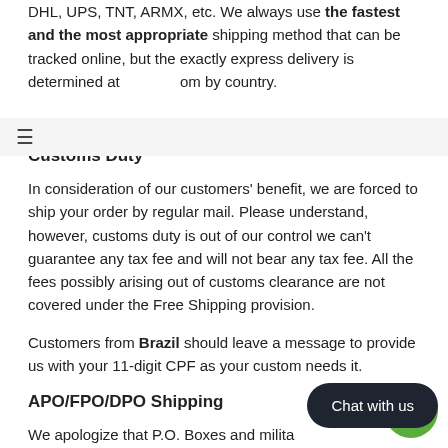DHL, UPS, TNT, ARMX, etc. We always use the fastest and the most appropriate shipping method that can be tracked online, but the exactly express delivery is determined at om by country.
Customs Duty
In consideration of our customers' benefit, we are forced to ship your order by regular mail. Please understand, however, customs duty is out of our control we can't guarantee any tax fee and will not bear any tax fee. All the fees possibly arising out of customs clearance are not covered under the Free Shipping provision.
Customers from Brazil should leave a message to provide us with your 11-digit CPF as your custom needs it.
APO/FPO/DPO Shipping
We apologize that P.O. Boxes and military addresses (APO/FPO) cannot be delivered.
Shipping Enquiry: